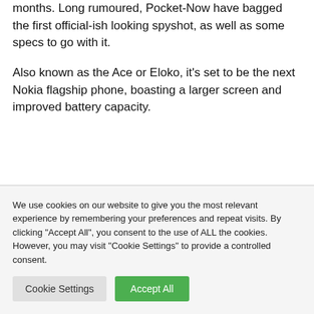months. Long rumoured, Pocket-Now have bagged the first official-ish looking spyshot, as well as some specs to go with it.
Also known as the Ace or Eloko, it’s set to be the next Nokia flagship phone, boasting a larger screen and improved battery capacity.
We use cookies on our website to give you the most relevant experience by remembering your preferences and repeat visits. By clicking “Accept All”, you consent to the use of ALL the cookies. However, you may visit “Cookie Settings” to provide a controlled consent.